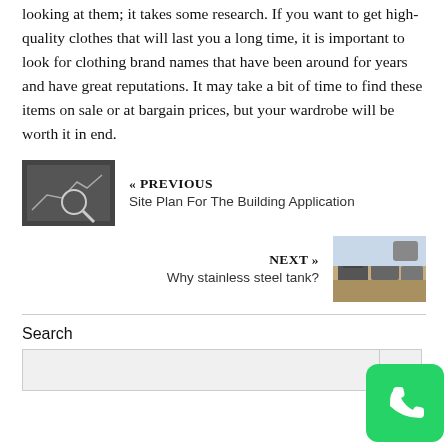looking at them; it takes some research. If you want to get high-quality clothes that will last you a long time, it is important to look for clothing brand names that have been around for years and have great reputations. It may take a bit of time to find these items on sale or at bargain prices, but your wardrobe will be worth it in end.
[Figure (photo): Thumbnail image showing a financial chart with a magnifying glass, black and white]
« PREVIOUS
Site Plan For The Building Application
[Figure (photo): Thumbnail image showing a junkyard with cars piled up outdoors]
NEXT »
Why stainless steel tank?
Search
[Figure (logo): WhatsApp icon button, green circle with white phone handset logo]